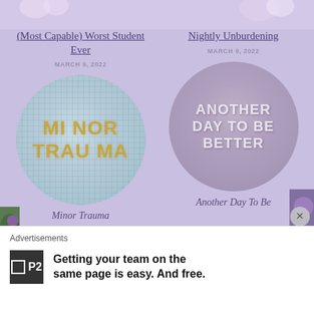[Figure (illustration): Top decorative strip with floral/pastel elements on lavender background]
(Most Capable) Worst Student Ever
MARCH 9, 2022
Nightly Unburdening
MARCH 9, 2022
[Figure (illustration): Circular image with grid/halftone overlay, text reading MINOR TRAUMA in gold/yellow letters]
[Figure (illustration): Circular blurred purple-lavender image with text ANOTHER DAY TO BE BETTER in white outlined letters]
Minor Trauma
Another Day To Be
Advertisements
Getting your team on the same page is easy. And free.